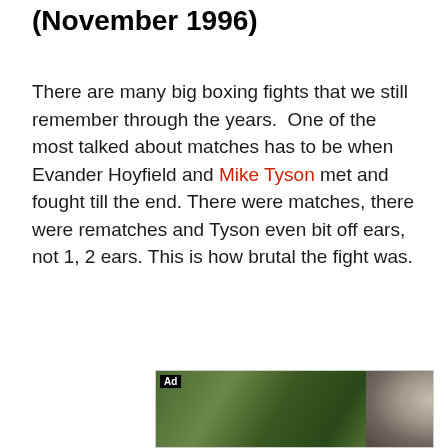(November 1996)
There are many big boxing fights that we still remember through the years.  One of the most talked about matches has to be when Evander Hoyfield and Mike Tyson met and fought till the end. There were matches, there were rematches and Tyson even bit off ears, not 1, 2 ears. This is how brutal the fight was.
[Figure (other): Advertisement banner showing wolf pack imagery with text 'Join the wolf pack!' and a Download link. Contains an 'Ad' label badge.]